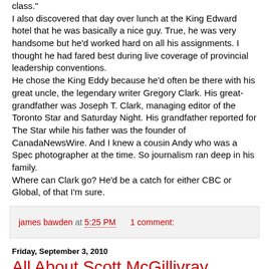class."
I also discovered that day over lunch at the King Edward hotel that he was basically a nice guy. True, he was very handsome but he'd worked hard on all his assignments. I thought he had fared best during live coverage of provincial leadership conventions.
He chose the King Eddy because he'd often be there with his great uncle, the legendary writer Gregory Clark. His great-grandfather was Joseph T. Clark, managing editor of the Toronto Star and Saturday Night. His grandfather reported for The Star while his father was the founder of CanadaNewsWire. And I knew a cousin Andy who was a Spec photographer at the time. So journalism ran deep in his family.
Where can Clark go? He'd be a catch for either CBC or Global, of that I'm sure.
james bawden at 5:25 PM   1 comment:
Friday, September 3, 2010
All About Scott McGillivray